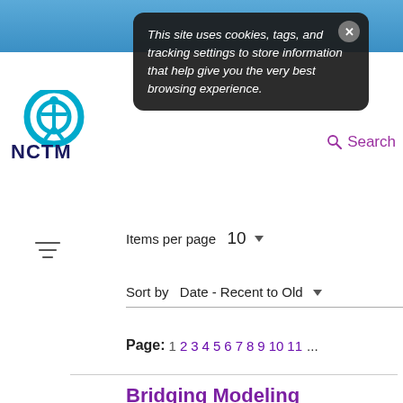[Figure (screenshot): NCTM website screenshot with cookie consent popup overlay. Shows NCTM logo, Search link, filter/sort controls, page numbers, and article listing for 'Bridging Modeling and Environmental Issues' by Hyunyi Jung, Megan H. Wickstrom, and others.]
This site uses cookies, tags, and tracking settings to store information that help give you the very best browsing experience.
Items per page  10
Sort by  Date - Recent to Old
Page: 1 2 3 4 5 6 7 8 9 10 11 ...
Bridging Modeling and Environmental Issues
Hyunyi Jung, Megan H. Wickstrom, and